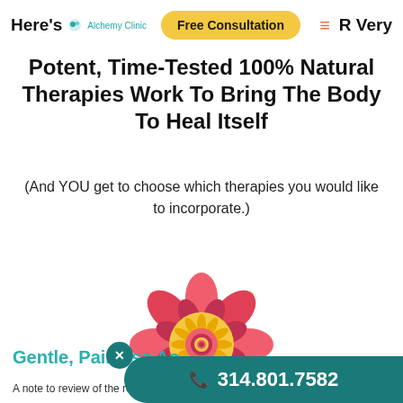Here's Alchemy Clinic  Free Consultation  ☰  R Very
Potent, Time-Tested 100% Natural Therapies Work To Bring The Body To Heal Itself
(And YOU get to choose which therapies you would like to incorporate.)
[Figure (illustration): Decorative mandala/flower illustration in red, pink, and gold colors with dot accents around it]
Gentle, Painless Ac
A note to review of the remaining of the page starts to roll